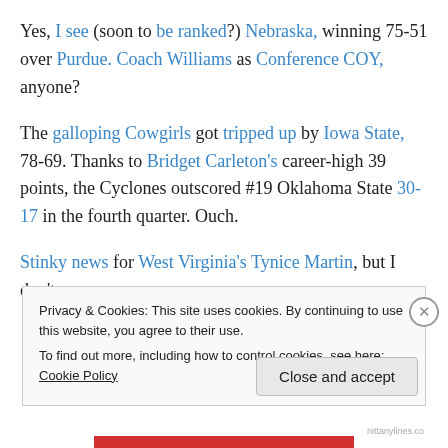Yes, I see (soon to be ranked?) Nebraska, winning 75-51 over Purdue. Coach Williams as Conference COY, anyone?
The galloping Cowgirls got tripped up by Iowa State, 78-69. Thanks to Bridget Carleton's career-high 39 points, the Cyclones outscored #19 Oklahoma State 30-17 in the fourth quarter. Ouch.
Stinky news for West Virginia's Tynice Martin, but I don't
Privacy & Cookies: This site uses cookies. By continuing to use this website, you agree to their use.
To find out more, including how to control cookies, see here: Cookie Policy
Close and accept